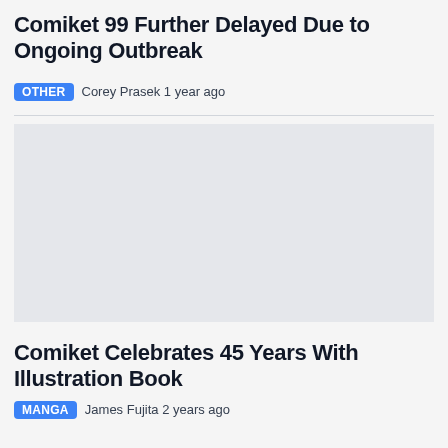Comiket 99 Further Delayed Due to Ongoing Outbreak
OTHER   Corey Prasek 1 year ago
[Figure (photo): Article image placeholder (light gray box)]
Comiket Celebrates 45 Years With Illustration Book
MANGA   James Fujita 2 years ago